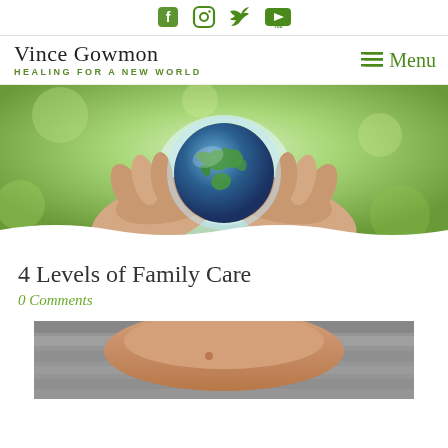Social media icons: Facebook, Instagram, Twitter, YouTube
Vince Gowmon — HEALING FOR A NEW WORLD
Menu
[Figure (photo): Hands cupping a glowing Earth globe against a green bokeh background]
4 Levels of Family Care
0 Comments
[Figure (photo): Close-up of hands or body with wooden background visible below]